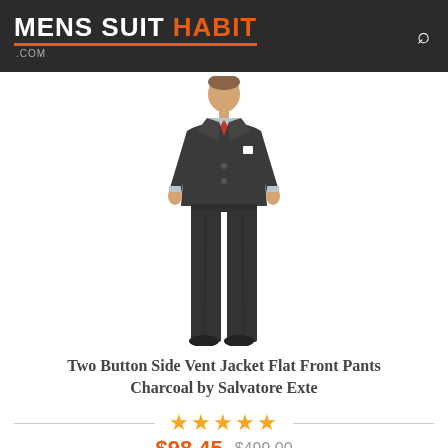MENS SUIT HABIT .COM
[Figure (photo): Man wearing a charcoal two-button suit with red tie and white pocket square, standing against white background]
Two Button Side Vent Jacket Flat Front Pants Charcoal by Salvatore Exte
★★★★★
$98.45  $499.00